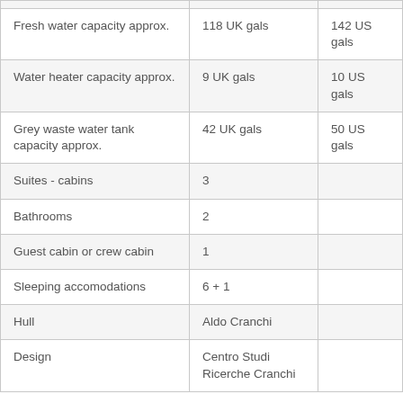|  |  |  |
| --- | --- | --- |
| Fresh water capacity approx. | 118 UK gals | 142 US gals |
| Water heater capacity approx. | 9 UK gals | 10 US gals |
| Grey waste water tank capacity approx. | 42 UK gals | 50 US gals |
| Suites - cabins | 3 |  |
| Bathrooms | 2 |  |
| Guest cabin or crew cabin | 1 |  |
| Sleeping accomodations | 6 + 1 |  |
| Hull | Aldo Cranchi |  |
| Design | Centro Studi Ricerche Cranchi |  |